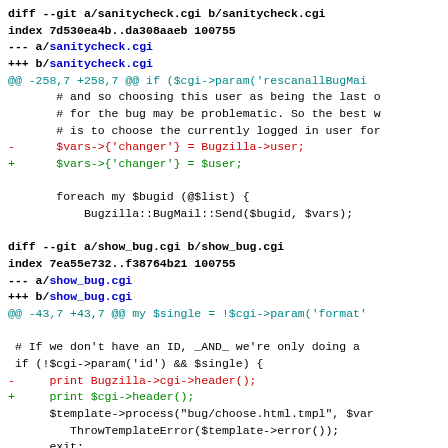diff --git a/sanitycheck.cgi b/sanitycheck.cgi
index 7d530ea4b..da308aaeb 100755
--- a/sanitycheck.cgi
+++ b/sanitycheck.cgi
@@ -258,7 +258,7 @@ if ($cgi->param('rescanallBugMai
        # and so choosing this user as being the last o
        # for the bug may be problematic. So the best w
        # is to choose the currently logged in user for
-       $vars->{'changer'} = Bugzilla->user;
+       $vars->{'changer'} = $user;

        foreach my $bugid (@$list) {
            Bugzilla::BugMail::Send($bugid, $vars);

diff --git a/show_bug.cgi b/show_bug.cgi
index 7ea55e732..f38764b21 100755
--- a/show_bug.cgi
+++ b/show_bug.cgi
@@ -43,7 +43,7 @@ my $single = !$cgi->param('format'

 # If we don't have an ID, _AND_ we're only doing a
 if (!$cgi->param('id') && $single) {
-     print Bugzilla->cgi->header();
+     print $cgi->header();
      $template->process("bug/choose.html.tmpl", $var
         ThrowTemplateError($template->error());
      exit;
@@ -111,7 +111,7 @@ if ($cgi->param("field")) {
      @fieldlist = $cgi->param("field");
 }